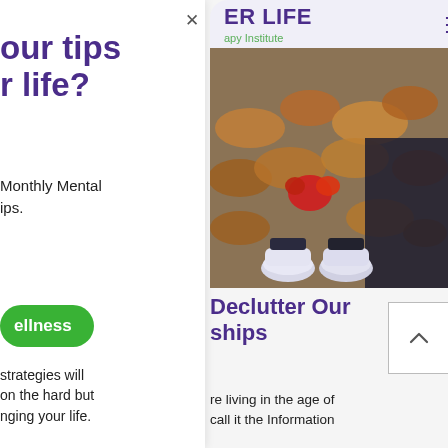our tips
r life?
Monthly Mental
ips.
ellness
strategies will
on the hard but
nging your life.
[Figure (screenshot): App header showing 'ER LIFE' in purple bold text with 'apy Institute' subtitle in green, and three-dot menu icon on right, overlaid on a partially visible rounded-corner card. Below header, a photo looking down at feet wearing white sneakers on autumn fallen leaves with a red maple leaf prominent. Below photo, article title 'Declutter Our ships' in purple bold. A scroll-up button (chevron up in bordered square) visible at right. Body text begins: 're living in the age of / call it the Information']
Declutter Our
ships
re living in the age of
call it the Information